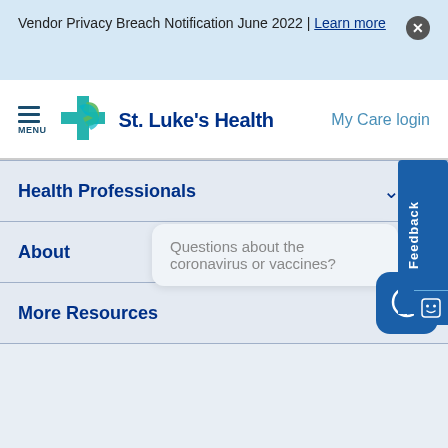Vendor Privacy Breach Notification June 2022 | Learn more
[Figure (logo): St. Luke's Health logo with green and teal cross/leaf icon and dark blue text]
My Care login
Health Professionals
About
More Resources
Questions about the coronavirus or vaccines?